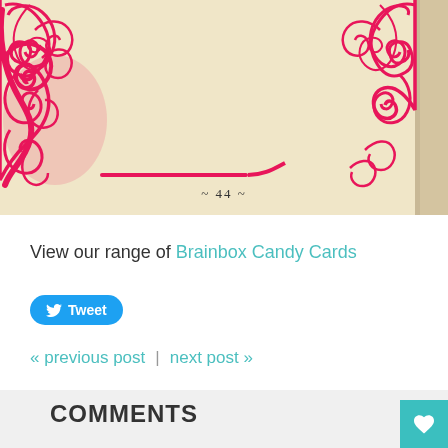[Figure (illustration): Antique cream/beige book page with hot pink/magenta ornate floral scrollwork decorative border at top corners and bottom, with page number ~ 44 ~ at the bottom center of the image.]
View our range of Brainbox Candy Cards
Tweet
« previous post  |  next post »
COMMENTS